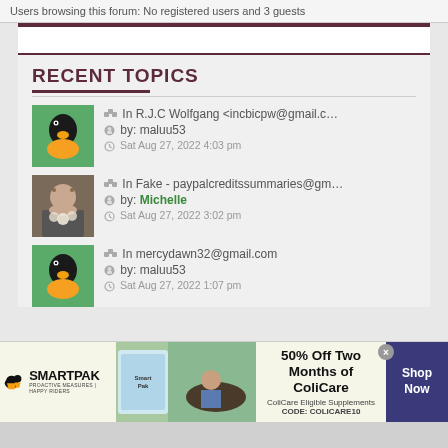Users browsing this forum: No registered users and 3 guests
RECENT TOPICS
In R.J.C Wolfgang <incbicpw@gmail.c… by: maluu53 Sat Aug 27, 2022 4:03 pm
In Fake - paypalcreditssummaries@gm… by: Michelle Sat Aug 27, 2022 3:02 pm
In mercydawn32@gmail.com by: maluu53 Sat Aug 27, 2022 1:07 pm
[Figure (infographic): SmartPak advertisement banner: 50% Off Two Months of ColiCare, ColiCare Eligible Supplements, CODE: COLICARE10, Shop Now button]